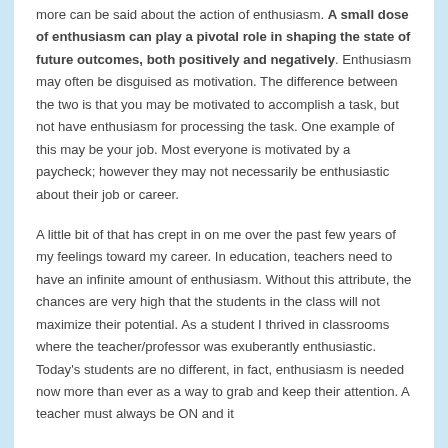more can be said about the action of enthusiasm. A small dose of enthusiasm can play a pivotal role in shaping the state of future outcomes, both positively and negatively. Enthusiasm may often be disguised as motivation. The difference between the two is that you may be motivated to accomplish a task, but not have enthusiasm for processing the task. One example of this may be your job. Most everyone is motivated by a paycheck; however they may not necessarily be enthusiastic about their job or career.
A little bit of that has crept in on me over the past few years of my feelings toward my career. In education, teachers need to have an infinite amount of enthusiasm. Without this attribute, the chances are very high that the students in the class will not maximize their potential. As a student I thrived in classrooms where the teacher/professor was exuberantly enthusiastic. Today's students are no different, in fact, enthusiasm is needed now more than ever as a way to grab and keep their attention. A teacher must always be ON and it